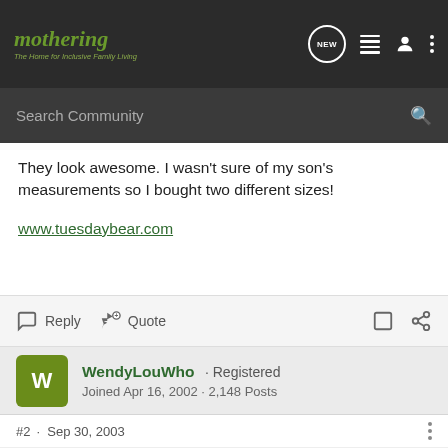mothering · The Home for Inclusive Family Living
Search Community
They look awesome. I wasn't sure of my son's measurements so I bought two different sizes!

www.tuesdaybear.com
Reply  Quote
WendyLouWho · Registered
Joined Apr 16, 2002 · 2,148 Posts
#2 · Sep 30, 2003
Aren't they precious?!? I have a pair coming, too...I can't wait! Meagan was so impressed with how well they worked, she